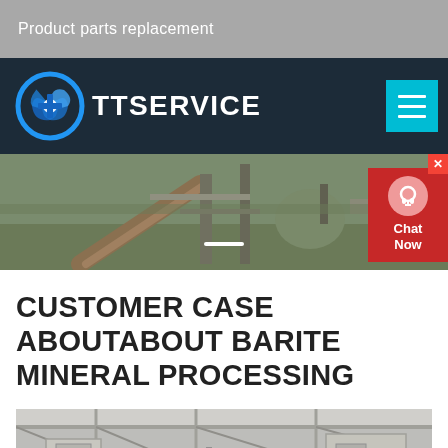Product parts replacement
[Figure (logo): TTSERVICE logo with circular blue gear/fan icon on dark navy background, with hamburger menu button in cyan]
[Figure (photo): Industrial mining or processing facility with conveyor belts and machinery, hero banner image]
[Figure (other): Chat Now widget with red background and headset icon on right side]
CUSTOMER CASE ABOUTABOUT BARITE MINERAL PROCESSING
[Figure (photo): Industrial processing plant interior showing structural steel and equipment]